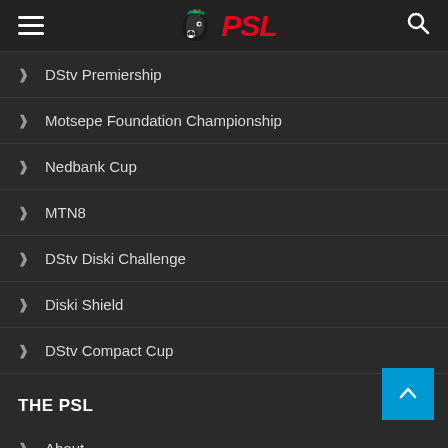PSL Navigation Header
DStv Premiership
Motsepe Foundation Championship
Nedbank Cup
MTN8
DStv Diski Challenge
Diski Shield
DStv Compact Cup
THE PSL
About
NSL Handbook